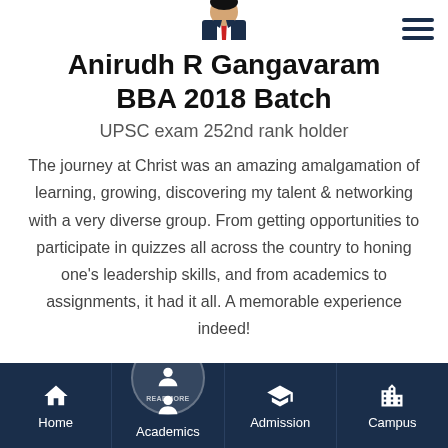[Figure (photo): Partial view of a person wearing a suit with a red tie, cropped at the top of the page]
Anirudh R Gangavaram BBA 2018 Batch
UPSC exam 252nd rank holder
The journey at Christ was an amazing amalgamation of learning, growing, discovering my talent & networking with a very diverse group. From getting opportunities to participate in quizzes all across the country to honing one's leadership skills, and from academics to assignments, it had it all. A memorable experience indeed!
Home | Academics | Admission | Campus